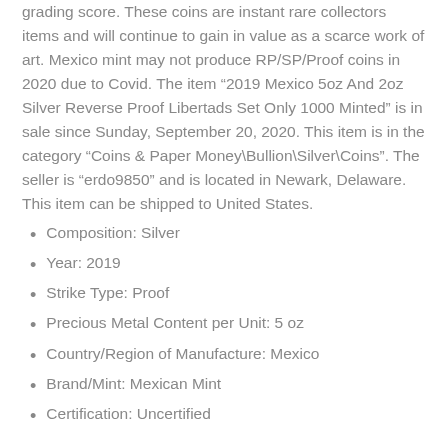grading score. These coins are instant rare collectors items and will continue to gain in value as a scarce work of art. Mexico mint may not produce RP/SP/Proof coins in 2020 due to Covid. The item “2019 Mexico 5oz And 2oz Silver Reverse Proof Libertads Set Only 1000 Minted” is in sale since Sunday, September 20, 2020. This item is in the category “Coins & Paper Money\Bullion\Silver\Coins”. The seller is “erdo9850” and is located in Newark, Delaware. This item can be shipped to United States.
Composition: Silver
Year: 2019
Strike Type: Proof
Precious Metal Content per Unit: 5 oz
Country/Region of Manufacture: Mexico
Brand/Mint: Mexican Mint
Certification: Uncertified